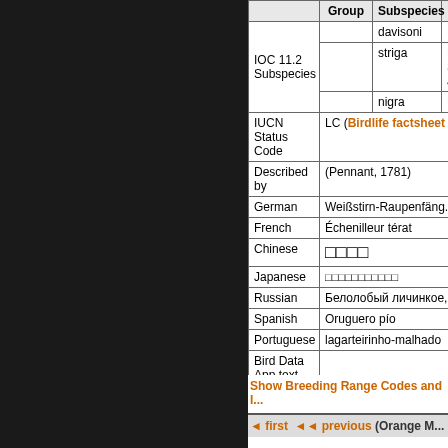|  | Group | Subspecies | B... |
| --- | --- | --- | --- |
| IOC 11.2 Subspecies |  | davisoni | Ni... |
|  |  | striga | Ma Su Su Ja... |
|  |  | nigra | Bo... |
| IUCN Status Code | LC (Birdlife factsheet |  |  |
| Described by | (Pennant, 1781) |  |  |
| German | Weißstirn-Raupenfäng... |  |  |
| French | Échenilleur térat |  |  |
| Chinese | □□□□ |  |  |
| Japanese | □□□□□□□□□□□ |  |  |
| Russian | Белолобый личинкое,... |  |  |
| Spanish | Oruguero pío |  |  |
| Portuguese | lagarteirinho-malhado |  |  |
| Bird Data App text |  |  |  |
Show Breeding Range Codes and I...
◄◄ first ◄◄ previous (Orange M...